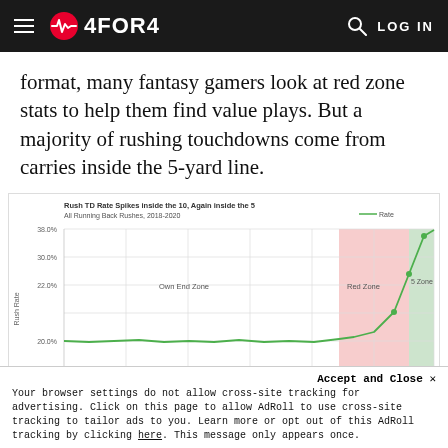4FOR4 — LOG IN
format, many fantasy gamers look at red zone stats to help them find value plays. But a majority of rushing touchdowns come from carries inside the 5-yard line.
[Figure (line-chart): Line chart showing Rush TD Rate by yard line. Red zone (inside 20) shaded pink, 5-zone shaded green. Rate spikes sharply inside the 10 and again inside the 5.]
Your browser settings do not allow cross-site tracking for advertising. Click on this page to allow AdRoll to use cross-site tracking to tailor ads to you. Learn more or opt out of this AdRoll tracking by clicking here. This message only appears once.